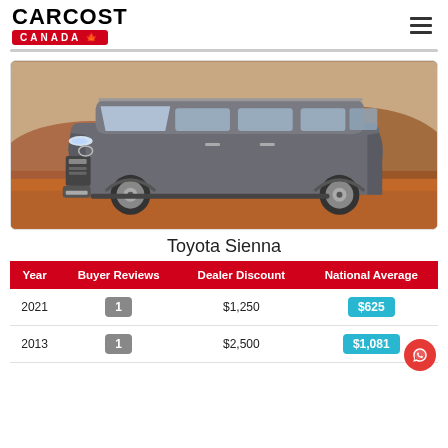CARCOST CANADA
[Figure (photo): Toyota Sienna minivan in grey/charcoal color, parked in a desert/reddish landscape setting, side profile view showing the full vehicle.]
Toyota Sienna
| Year | Buyer Reviews | Dealer Discount | National Average |
| --- | --- | --- | --- |
| 2021 | 1 | $1,250 | $625 |
| 2013 | 1 | $2,500 | $1,081 |